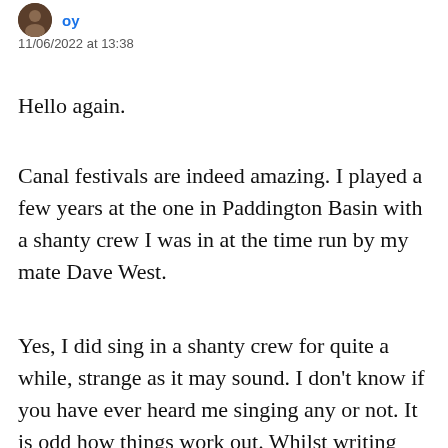[Figure (photo): Small circular avatar photo of a person]
11/06/2022 at 13:38
Hello again.
Canal festivals are indeed amazing. I played a few years at the one in Paddington Basin with a shanty crew I was in at the time run by my mate Dave West.
Yes, I did sing in a shanty crew for quite a while, strange as it may sound. I don't know if you have ever heard me singing any or not. It is odd how things work out. Whilst writing this reply I decided to look Dave up online as I had not seen him since